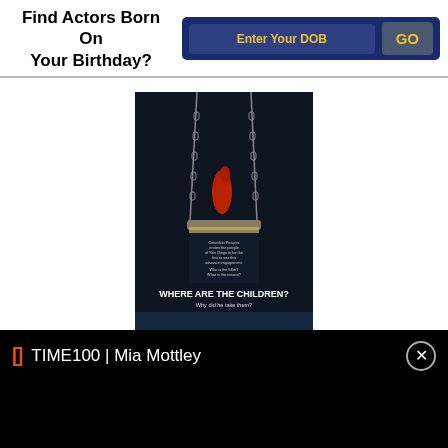Find Actors Born On Your Birthday?
Enter Your DOB
GO
[Figure (illustration): Movie poster for 'Where Are The Children?' showing a swing with chains against a dark background. Text reads: 'Columbia Pictures invites the people of San Diego to be the first to see this advance engagement. Who is the killer? What is the reason? WHERE ARE THE CHILDREN? Why did he take them?']
TIME100 | Mia Mottley